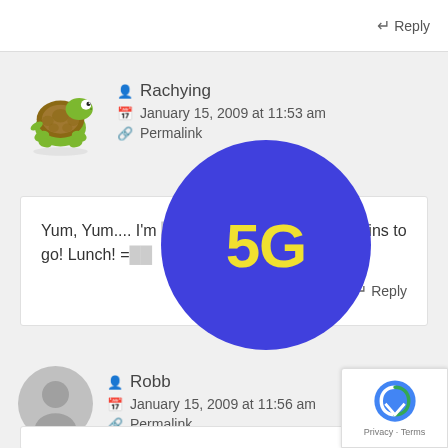↵Reply
Rachying
January 15, 2009 at 11:53 am
Permalink
[Figure (illustration): Cartoon turtle avatar for user Rachying]
Yum, Yum.... I'm [obscured] and 15 mins to go! Lunch! = [obscured]
↵Reply
[Figure (infographic): Large blue circle with yellow bold text '5G' overlaid on the comment section]
Robb
January 15, 2009 at 11:56 am
Permalink
[Figure (illustration): Generic gray user avatar for Robb]